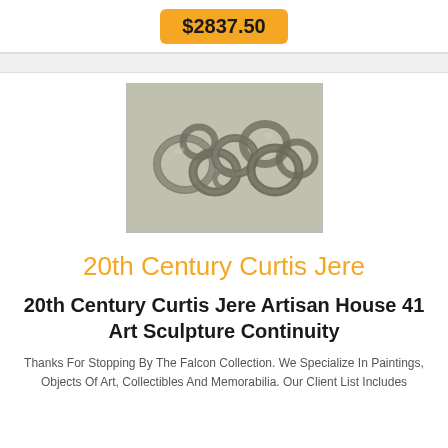$2837.50
[Figure (photo): Metal art sculpture by Curtis Jere consisting of interlocking metallic rings/circles arranged in a cluster on a gray background]
20th Century Curtis Jere
20th Century Curtis Jere Artisan House 41 Art Sculpture Continuity
Thanks For Stopping By The Falcon Collection. We Specialize In Paintings, Objects Of Art, Collectibles And Memorabilia. Our Client List Includes